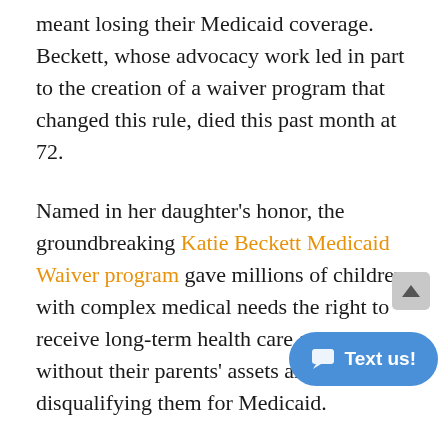meant losing their Medicaid coverage. Beckett, whose advocacy work led in part to the creation of a waiver program that changed this rule, died this past month at 72.
Named in her daughter's honor, the groundbreaking Katie Beckett Medicaid Waiver program gave millions of children with complex medical needs the right to receive long-term health care at home without their parents' assets and income disqualifying them for Medicaid.
In 1978, Beckett's 6-month-old daughter, Katie, contracted encephalitis and was placed on a ventilator that she would need indefinitely. When Beckett learned that Katie would have to spend the rest of her life in the hospital, she outlined for policymakers th cost savings — roughly $10,000 a month — in seeking care